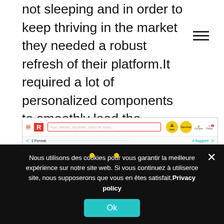not sleeping and in order to keep thriving in the market they needed a robust refresh of their platform.It required a lot of personalized components to smoothly lead the customer through the ordering process to allow them to get a product perfectly tailored to their needs within seconds, not minutes!
[Figure (screenshot): Screenshot of a print/flyer ordering platform showing navigation bar with logo, search, and buttons, step indicators, support product cards with TOP labels, and order summary panel with Flyers details.]
Nous utilisons des cookies pour vous garantir la meilleure expérience sur notre site web. Si vous continuez à utiliserce site, nous supposerons que vous en êtes satisfait.Privacy policy Ok